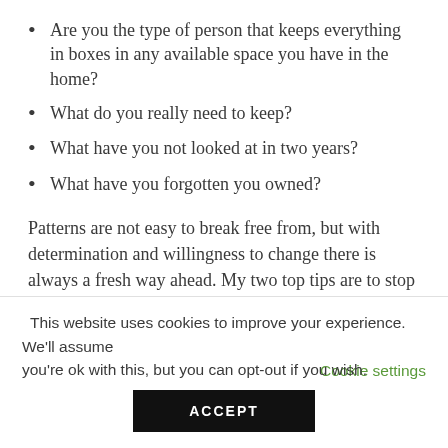Are you the type of person that keeps everything in boxes in any available space you have in the home?
What do you really need to keep?
What have you not looked at in two years?
What have you forgotten you owned?
Patterns are not easy to break free from, but with determination and willingness to change there is always a fresh way ahead. My two top tips are to stop buying for the sake of it and have a major clear out every year of everything you own. Be brutal, clean up clutter and make some space. It's the most refreshing thing you can do.
This website uses cookies to improve your experience. We'll assume you're ok with this, but you can opt-out if you wish.
Cookie settings
ACCEPT